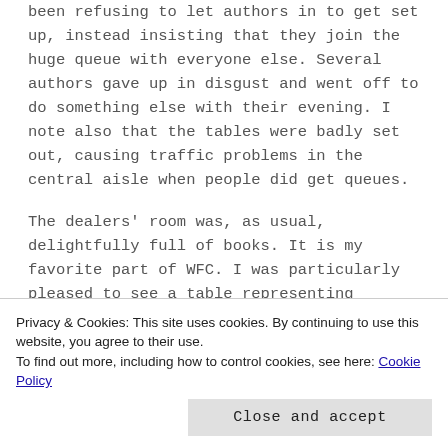been refusing to let authors in to get set up, instead insisting that they join the huge queue with everyone else. Several authors gave up in disgust and went off to do something else with their evening. I note also that the tables were badly set out, causing traffic problems in the central aisle when people did get queues.
The dealers' room was, as usual, delightfully full of books. It is my favorite part of WFC. I was particularly pleased to see a table representing Australian small presses, and one for ChiZine. I
Privacy & Cookies: This site uses cookies. By continuing to use this website, you agree to their use. To find out more, including how to control cookies, see here: Cookie Policy
not decided to keep one of the stupidly heavy